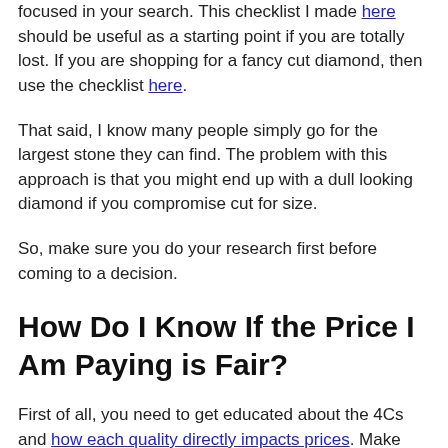focused in your search. This checklist I made here should be useful as a starting point if you are totally lost. If you are shopping for a fancy cut diamond, then use the checklist here.
That said, I know many people simply go for the largest stone they can find. The problem with this approach is that you might end up with a dull looking diamond if you compromise cut for size.
So, make sure you do your research first before coming to a decision.
How Do I Know If the Price I Am Paying is Fair?
First of all, you need to get educated about the 4Cs and how each quality directly impacts prices. Make sure you read up the necessary